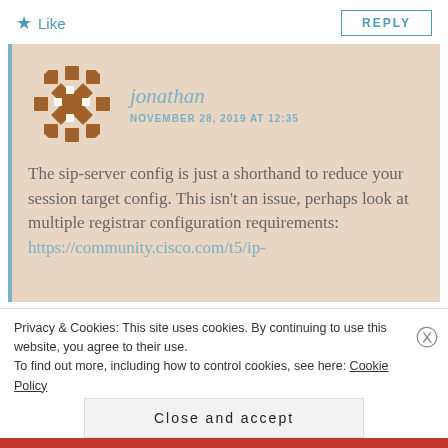Like
REPLY
[Figure (illustration): Circular avatar icon with brown geometric/diamond pattern on beige background, representing user jonathan]
jonathan
NOVEMBER 28, 2019 AT 12:35
The sip-server config is just a shorthand to reduce your session target config. This isn't an issue, perhaps look at multiple registrar configuration requirements: https://community.cisco.com/t5/ip-
Privacy & Cookies: This site uses cookies. By continuing to use this website, you agree to their use.
To find out more, including how to control cookies, see here: Cookie Policy
Close and accept